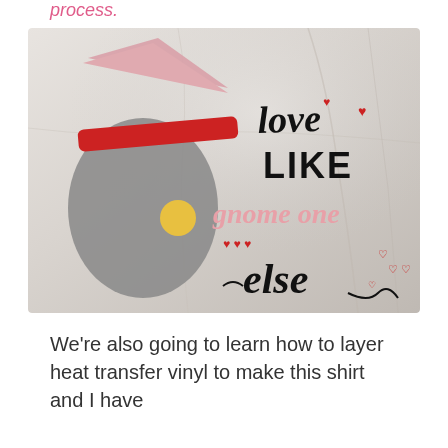process.
[Figure (photo): A white t-shirt with a gnome graphic and text reading 'love LIKE gnome one else' with heart decorations, displayed on a flat surface.]
We're also going to learn how to layer heat transfer vinyl to make this shirt and I have